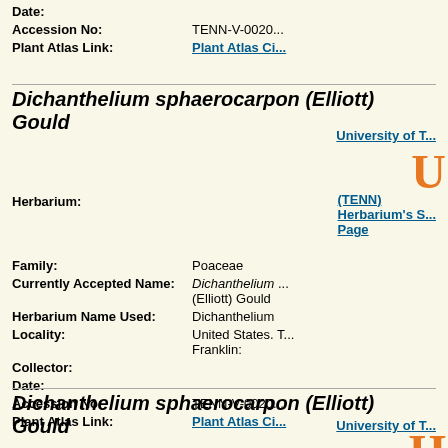Date:
Accession No:   TENN-V-0020...
Plant Atlas Link:   Plant Atlas Ci...
Dichanthelium sphaerocarpon (Elliott) Gould
University of T...
Herbarium:   (TENN)   Herbarium's S... Page
Family:   Poaceae
Currently Accepted Name:   Dichanthelium ... (Elliott) Gould
Herbarium Name Used:   Dichanthelium
Locality:   United States. T... Franklin:
Collector:
Date:
Accession No:   TENN-V-0020...
Plant Atlas Link:   Plant Atlas Ci...
Dichanthelium sphaerocarpon (Elliott) Gould
University of T...